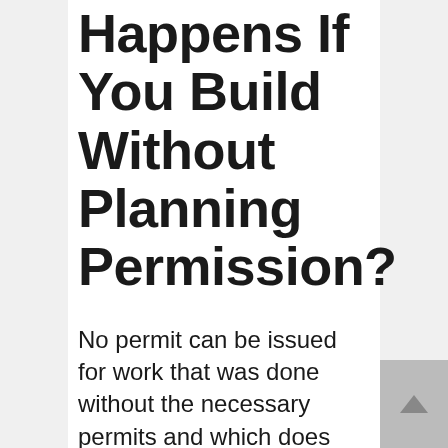Happens If You Build Without Planning Permission?
No permit can be issued for work that was done without the necessary permits and which does not meet zoning restrictions. If your structure meets planning